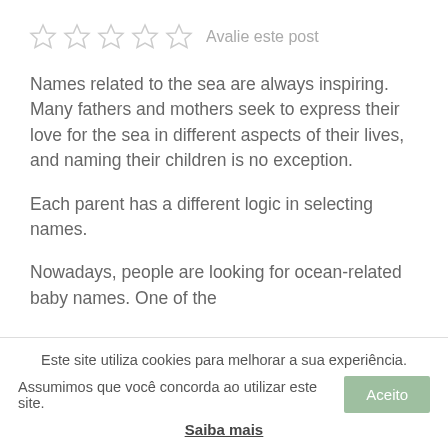[Figure (other): Five empty star rating icons followed by the text 'Avalie este post']
Names related to the sea are always inspiring. Many fathers and mothers seek to express their love for the sea in different aspects of their lives, and naming their children is no exception.
Each parent has a different logic in selecting names.
Nowadays, people are looking for ocean-related baby names. One of the
Este site utiliza cookies para melhorar a sua experiência.
Assumimos que você concorda ao utilizar este site.
Saiba mais